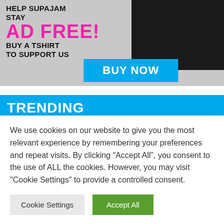[Figure (infographic): Ad banner with grey background, black t-shirt image on the right, text 'HELP SUPAJAM STAY AD FREE! BUY A TSHIRT TO SUPPORT US' on the left, and a cyan 'BUY NOW' button at the bottom center.]
TRENDING
Sigrid Live at Glastonbury 2022
We use cookies on our website to give you the most relevant experience by remembering your preferences and repeat visits. By clicking “Accept All”, you consent to the use of ALL the cookies. However, you may visit “Cookie Settings” to provide a controlled consent.
Cookie Settings
Accept All